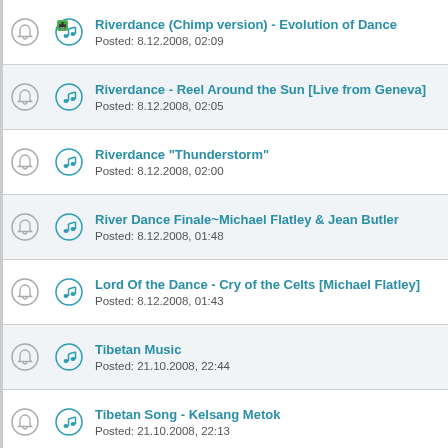Riverdance (Chimp version) - Evolution of Dance
Posted: 8.12.2008, 02:09
Riverdance - Reel Around the Sun [Live from Geneva]
Posted: 8.12.2008, 02:05
Riverdance "Thunderstorm"
Posted: 8.12.2008, 02:00
River Dance Finale~Michael Flatley & Jean Butler
Posted: 8.12.2008, 01:48
Lord Of the Dance - Cry of the Celts [Michael Flatley]
Posted: 8.12.2008, 01:43
Tibetan Music
Posted: 21.10.2008, 22:44
Tibetan Song - Kelsang Metok
Posted: 21.10.2008, 22:13
Tibetan Song Beautiful Dresses of Tibet
Posted: 21.10.2008, 21:46
Tibetan Amdo Music
Posted: 21.10.2008, 21:20
Tibetan Love Song
Posted: 21.10.2008, 21:01
Lara Fabian - I will love again
Posted: 17.7.2008, 04:19
Pas san toi - Lara Fabian
Posted: 17.7.2008, 04:15
Lara Fabian - Immortelle
Posted: 17.7.2008, 04:05
Lara Fabian - The Last Goodbye (live)